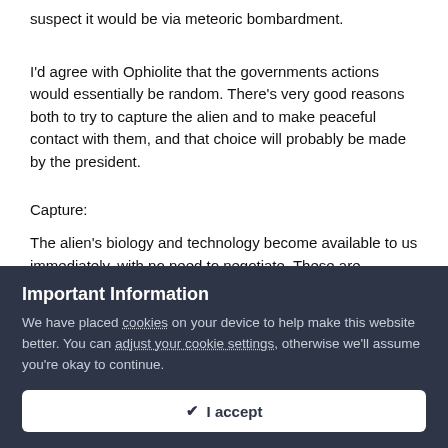suspect it would be via meteoric bombardment.
I'd agree with Ophiolite that the governments actions would essentially be random. There's very good reasons both to try to capture the alien and to make peaceful contact with them, and that choice will probably be made by the president.
Capture:
The alien's biology and technology become available to us immediately, with no need to negotiate. These are exclusive to
Important Information
We have placed cookies on your device to help make this website better. You can adjust your cookie settings, otherwise we'll assume you're okay to continue.
✔ I accept